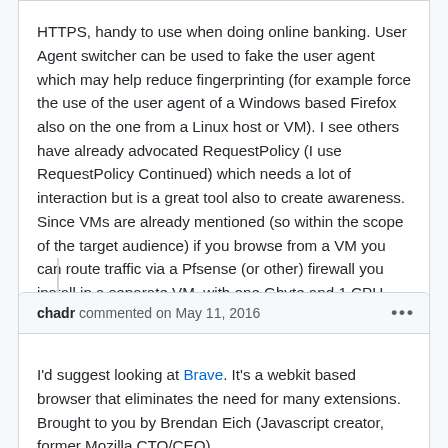HTTPS, handy to use when doing online banking. User Agent switcher can be used to fake the user agent which may help reduce fingerprinting (for example force the use of the user agent of a Windows based Firefox also on the one from a Linux host or VM). I see others have already advocated RequestPolicy (I use RequestPolicy Continued) which needs a lot of interaction but is a great tool also to create awareness. Since VMs are already mentioned (so within the scope of the target audience) if you browse from a VM you can route traffic via a Pfsense (or other) firewall you install in a separate VM, with one Gbyte and 1 CPU assigned to it that runs great. Pfsense can then be configured with pfBlockerNG and for example block some countries that you think you should not need to access.
chadr commented on May 11, 2016
I'd suggest looking at Brave. It's a webkit based browser that eliminates the need for many extensions. Brought to you by Brendan Eich (Javascript creator, former Mozilla CTO/CEO)